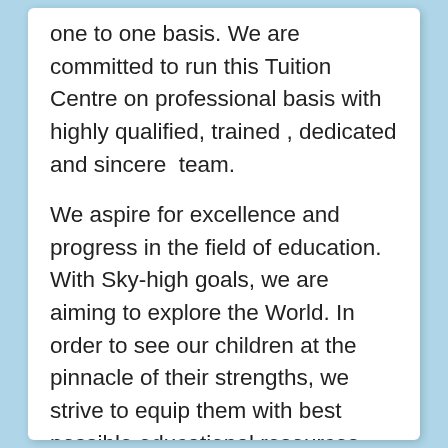one to one basis. We are committed to run this Tuition Centre on professional basis with highly qualified, trained , dedicated and sincere  team.
We aspire for excellence and progress in the field of education. With Sky-high goals, we are aiming to explore the World. In order to see our children at the pinnacle of their strengths, we strive to equip them with best possible educational resources. We need more people like Dr.Abdus Salam and Sir Zafrullah Khan. We have to replace the Sword with real Knowledge and